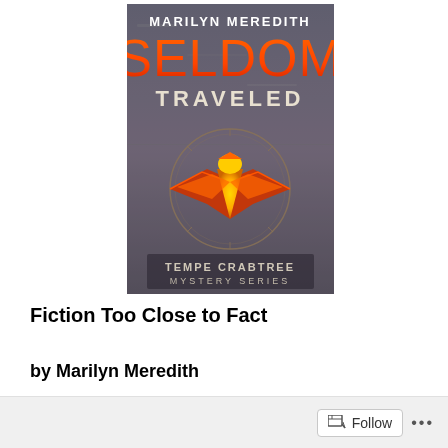[Figure (illustration): Book cover for 'Seldom Traveled' by Marilyn Meredith, part of the Tempe Crabtree Mystery Series. Dark stone-textured background with author name in white at the top, title 'SELDOM' in large orange/red letters, 'TRAVELED' in white letters, a stylized bird/thunderbird symbol in orange and gold, and 'TEMPE CRABTREE MYSTERY SERIES' at the bottom.]
Fiction Too Close to Fact
by Marilyn Meredith
Follow ...